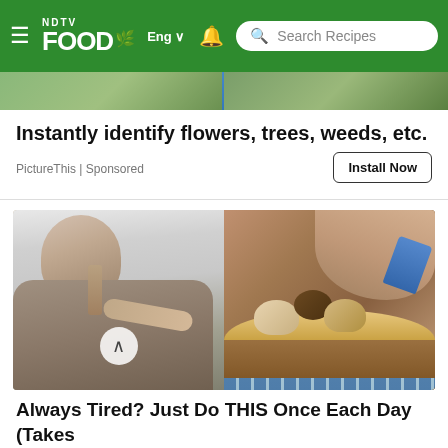NDTV FOOD Eng Search Recipes
[Figure (photo): Top strip showing plants and greenery (cropped bottom of previous article image)]
Instantly identify flowers, trees, weeds, etc.
PictureThis | Sponsored
Install Now
[Figure (photo): Split image: left side shows an elderly man in a suit and glasses in a corridor pointing; right side shows hands working with chocolates or food items in sand/soil. A circular arrow-up button overlays the center.]
Always Tired? Just Do THIS Once Each Day (Takes